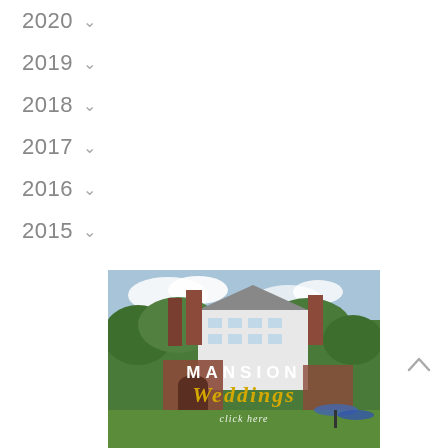2020
2019
2018
2017
2016
2015
[Figure (photo): Photo of a mansion/historic building with brick chimneys and white facade, surrounded by trees. Overlaid text reads 'MANSION Weddings click here' in white and gold/yellow script.]